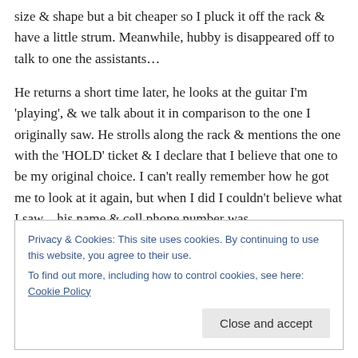size & shape but a bit cheaper so I pluck it off the rack & have a little strum. Meanwhile, hubby is disappeared off to talk to one the assistants…
He returns a short time later, he looks at the guitar I'm 'playing', & we talk about it in comparison to the one I originally saw. He strolls along the rack & mentions the one with the 'HOLD' ticket & I declare that I believe that one to be my original choice. I can't really remember how he got me to look at it again, but when I did I couldn't believe what I saw – his name & cell phone number was
Privacy & Cookies: This site uses cookies. By continuing to use this website, you agree to their use.
To find out more, including how to control cookies, see here: Cookie Policy